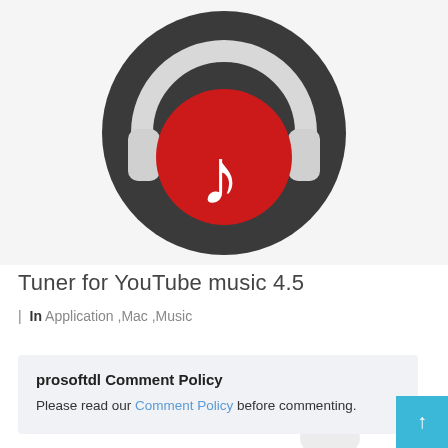[Figure (logo): App icon for Tuner for YouTube Music — dark circular background with white headphones and a red vinyl record center containing a white music note]
Tuner for YouTube music 4.5
| In Application ,Mac ,Music
prosoftdl Comment Policy
Please read our Comment Policy before commenting.